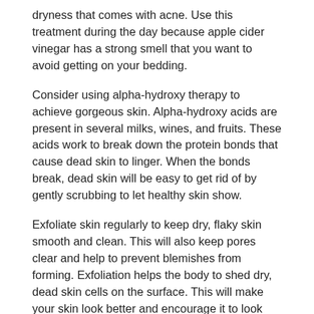dryness that comes with acne. Use this treatment during the day because apple cider vinegar has a strong smell that you want to avoid getting on your bedding.
Consider using alpha-hydroxy therapy to achieve gorgeous skin. Alpha-hydroxy acids are present in several milks, wines, and fruits. These acids work to break down the protein bonds that cause dead skin to linger. When the bonds break, dead skin will be easy to get rid of by gently scrubbing to let healthy skin show.
Exfoliate skin regularly to keep dry, flaky skin smooth and clean. This will also keep pores clear and help to prevent blemishes from forming. Exfoliation helps the body to shed dry, dead skin cells on the surface. This will make your skin look better and encourage it to look hydrated.
Sunscreen should be applied to the face with a sponge applicator. A sponge assists the sunscreen in penetrating your skin, which will make it more effective. You will also avoid applying it too thickly and winding up with sticky skin.
Oily Skin
If you have an oily skin type, it is still important to moisturize daily. Use